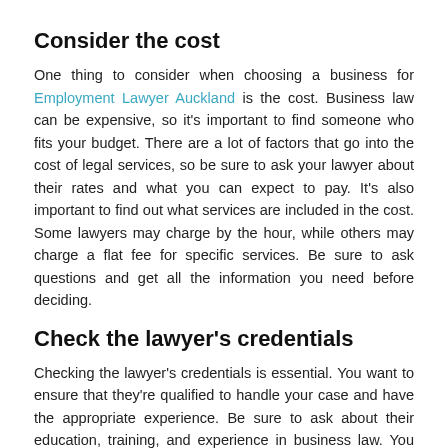Consider the cost
One thing to consider when choosing a business for Employment Lawyer Auckland is the cost. Business law can be expensive, so it's important to find someone who fits your budget. There are a lot of factors that go into the cost of legal services, so be sure to ask your lawyer about their rates and what you can expect to pay. It's also important to find out what services are included in the cost. Some lawyers may charge by the hour, while others may charge a flat fee for specific services. Be sure to ask questions and get all the information you need before deciding.
Check the lawyer's credentials
Checking the lawyer's credentials is essential. You want to ensure that they're qualified to handle your case and have the appropriate experience. Be sure to ask about their education, training, and experience in business law. You should also request a list of past clients so you can get a sense of the lawyer's success rate.